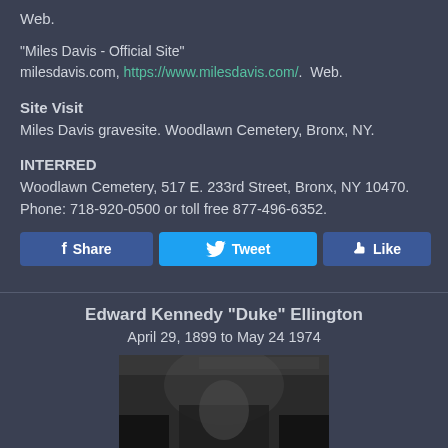Web.
"Miles Davis - Official Site" milesdavis.com, https://www.milesdavis.com/.  Web.
Site Visit
Miles Davis gravesite. Woodlawn Cemetery, Bronx, NY.
INTERRED
Woodlawn Cemetery, 517 E. 233rd Street, Bronx, NY 10470. Phone: 718-920-0500 or toll free 877-496-6352.
[Figure (other): Social media buttons: Share (Facebook), Tweet (Twitter), Like (Facebook)]
Edward Kennedy "Duke" Ellington
April 29, 1899 to May 24 1974
[Figure (photo): Black and white photograph of Duke Ellington]